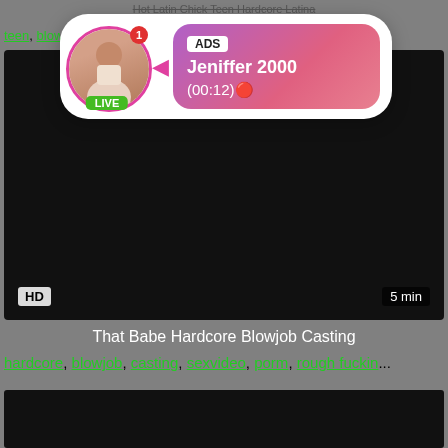Hot Latin Chick Teen Hardcore Latina
teen, blowjo...
[Figure (screenshot): Black video thumbnail with HD badge and 5 min duration label]
[Figure (infographic): Ad overlay popup showing a live profile for Jeniffer 2000 with (00:12) timer, pink gradient background, circular avatar with LIVE badge and notification dot]
That Babe Hardcore Blowjob Casting
hardcore, blowjob, casting, sexvideo, porm, rough fuckin...
[Figure (screenshot): Black video thumbnail, partially visible]